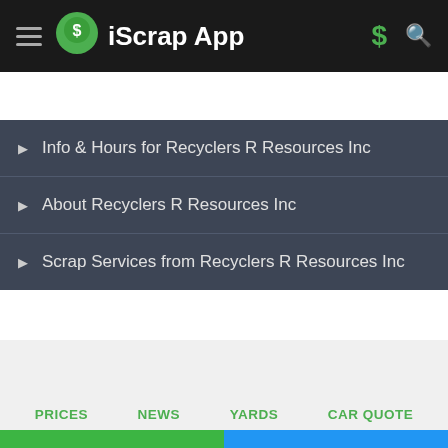iScrap App
Info & Hours for Recyclers R Resources Inc
About Recyclers R Resources Inc
Scrap Services from Recyclers R Resources Inc
PRICES  NEWS  YARDS  CAR QUOTE
CONTACT
$ POST PRICES